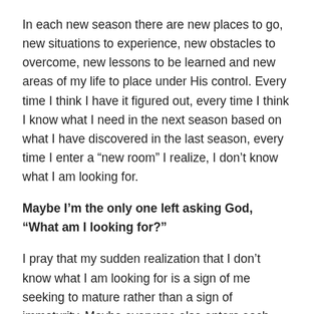In each new season there are new places to go, new situations to experience, new obstacles to overcome, new lessons to be learned and new areas of my life to place under His control. Every time I think I have it figured out, every time I think I know what I need in the next season based on what I have discovered in the last season, every time I enter a “new room” I realize, I don’t know what I am looking for.
Maybe I’m the only one left asking God, “What am I looking for?”
I pray that my sudden realization that I don’t know what I am looking for is a sign of me seeking to mature rather than a sign of immaturity. Maybe everyone else enters each new room, each new season already knowing why they are there. I guess I have to accept that I could be the